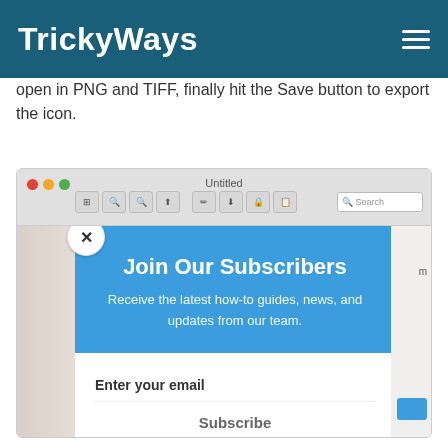TrickyWays
open in PNG and TIFF, finally hit the Save button to export the icon.
[Figure (screenshot): Browser window screenshot showing a popup subscription widget overlaid on the page content. The popup has a blue top section with title 'Join Our Subscribers' and subtitle 'Receive the latest how-to guides, news, and updates from our team.' Below is a white section with 'Enter your email' field and 'Subscribe' button. A close (X) button is in the top-left corner of the popup.]
You ... ny othe